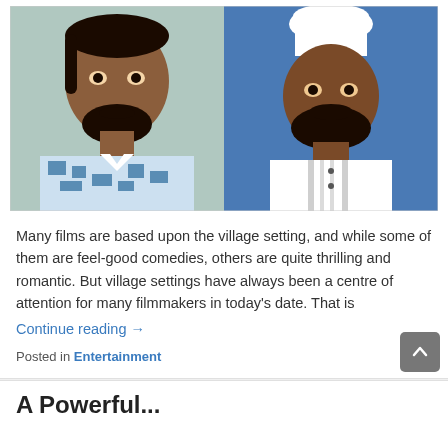[Figure (photo): Two men side by side: left man in patterned blue and white shirt, right man in white chef uniform and white chef hat against blue background]
Many films are based upon the village setting, and while some of them are feel-good comedies, others are quite thrilling and romantic. But village settings have always been a centre of attention for many filmmakers in today's date. That is
Continue reading →
Posted in Entertainment
A Powerful...